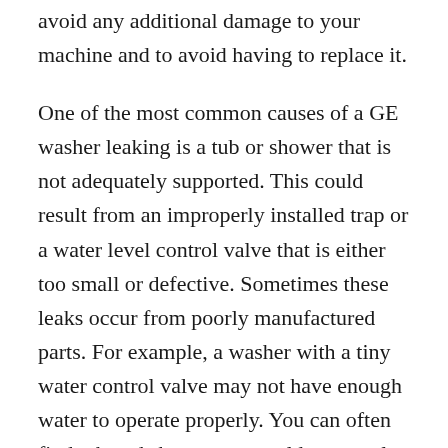avoid any additional damage to your machine and to avoid having to replace it.
One of the most common causes of a GE washer leaking is a tub or shower that is not adequately supported. This could result from an improperly installed trap or a water level control valve that is either too small or defective. Sometimes these leaks occur from poorly manufactured parts. For example, a washer with a tiny water control valve may not have enough water to operate properly. You can often find tub and shower parts sold separately that are made to be used together to achieve the correct water level control.
A similar problem is a dirty drain hose. These leaks are